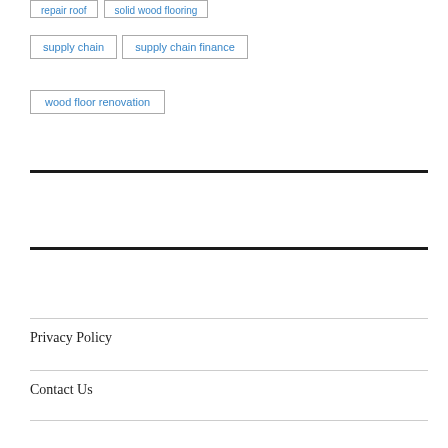repair roof
solid wood flooring
supply chain
supply chain finance
wood floor renovation
Privacy Policy
Contact Us